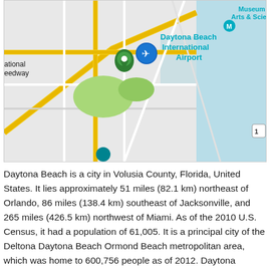[Figure (map): Google Maps view showing Daytona Beach International Airport area with labeled landmarks including Museum of Arts & Science and National Speedway. Map pins visible for airport and speedway locations.]
Daytona Beach is a city in Volusia County, Florida, United States. It lies approximately 51 miles (82.1 km) northeast of Orlando, 86 miles (138.4 km) southeast of Jacksonville, and 265 miles (426.5 km) northwest of Miami. As of the 2010 U.S. Census, it had a population of 61,005. It is a principal city of the Deltona Daytona Beach Ormond Beach metropolitan area, which was home to 600,756 people as of 2012. Daytona